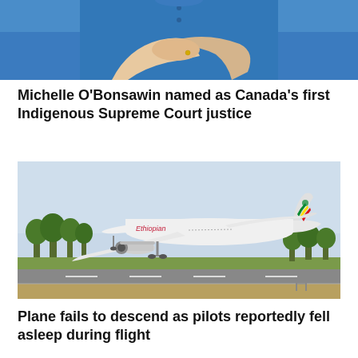[Figure (photo): Partial photo of a woman in a blue outfit with arms crossed, showing torso and hands with a ring]
Michelle O'Bonsawin named as Canada's first Indigenous Supreme Court justice
[Figure (photo): Ethiopian Airlines Boeing 787 Dreamliner aircraft landing or taking off on a runway, with trees and open fields in the background under a hazy sky]
Plane fails to descend as pilots reportedly fell asleep during flight